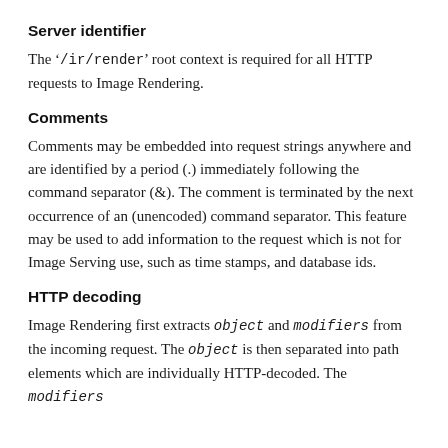Server identifier
The '/ir/render' root context is required for all HTTP requests to Image Rendering.
Comments
Comments may be embedded into request strings anywhere and are identified by a period (.) immediately following the command separator (&). The comment is terminated by the next occurrence of an (unencoded) command separator. This feature may be used to add information to the request which is not for Image Serving use, such as time stamps, and database ids.
HTTP decoding
Image Rendering first extracts object and modifiers from the incoming request. The object is then separated into path elements which are individually HTTP-decoded. The modifiers